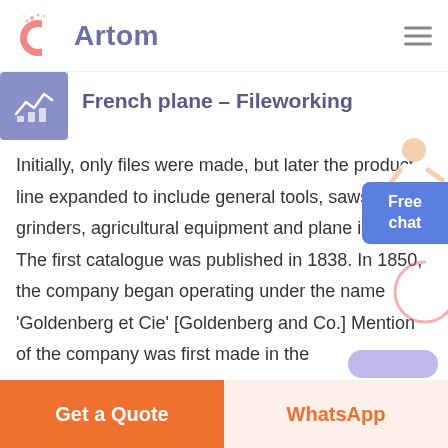Artom
French plane – Fileworking
Initially, only files were made, but later the product line expanded to include general tools, saws, coffee grinders, agricultural equipment and plane irons. The first catalogue was published in 1838. In 1850, the company began operating under the name 'Goldenberg et Cie' [Goldenberg and Co.] Mention of the company was first made in the
...
Get a Quote | WhatsApp